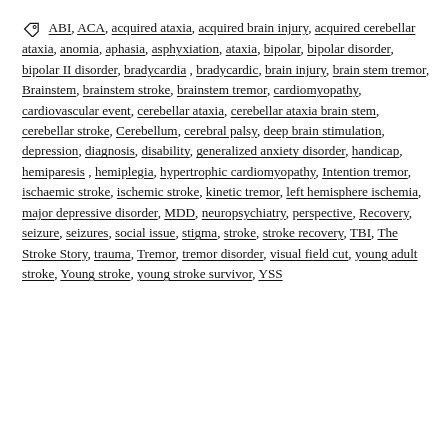ABI, ACA, acquired ataxia, acquired brain injury, acquired cerebellar ataxia, anomia, aphasia, asphyxiation, ataxia, bipolar, bipolar disorder, bipolar II disorder, bradycardia, bradycardic, brain injury, brain stem tremor, Brainstem, brainstem stroke, brainstem tremor, cardiomyopathy, cardiovascular event, cerebellar ataxia, cerebellar ataxia brain stem, cerebellar stroke, Cerebellum, cerebral palsy, deep brain stimulation, depression, diagnosis, disability, generalized anxiety disorder, handicap, hemiparesis, hemiplegia, hypertrophic cardiomyopathy, Intention tremor, ischaemic stroke, ischemic stroke, kinetic tremor, left hemisphere ischemia, major depressive disorder, MDD, neuropsychiatry, perspective, Recovery, seizure, seizures, social issue, stigma, stroke, stroke recovery, TBI, The Stroke Story, trauma, Tremor, tremor disorder, visual field cut, young adult stroke, Young stroke, young stroke survivor, YSS